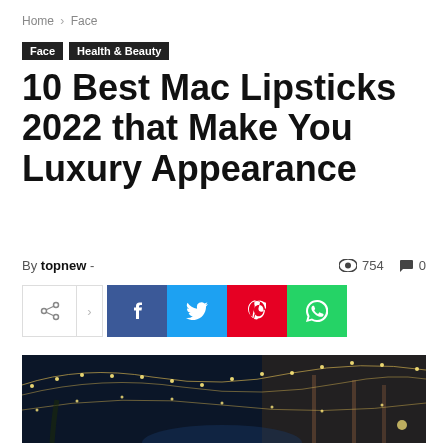Home › Face
Face  Health & Beauty
10 Best Mac Lipsticks 2022 that Make You Luxury Appearance
By topnew -   👁 754   💬 0
[Figure (infographic): Social share bar with icons: share, arrow, Facebook (f), Twitter (bird), Pinterest (P), WhatsApp (phone)]
[Figure (photo): Nighttime outdoor scene with string lights over a pool/patio area with palm trees and a canopy structure]